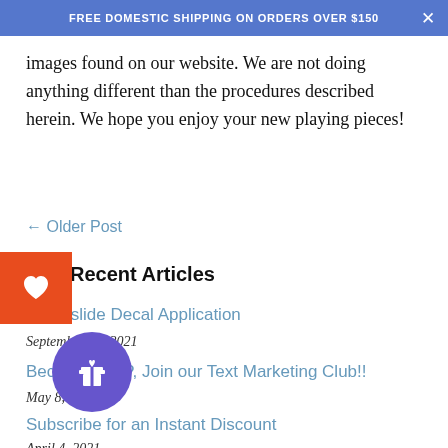FREE DOMESTIC SHIPPING ON ORDERS OVER $150
images found on our website. We are not doing anything different than the procedures described herein. We hope you enjoy your new playing pieces!
← Older Post
Recent Articles
Waterslide Decal Application
September 13, 2021
Become a VIP, Join our Text Marketing Club!!
May 8, 2021
Subscribe for an Instant Discount
April 4, 2021